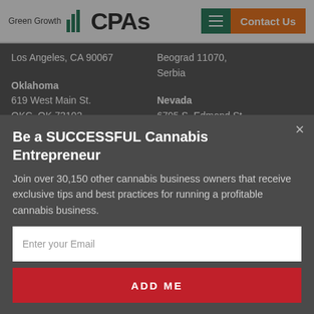Green Growth CPAs | Contact Us
Los Angeles, CA 90067
Beograd 11070, Serbia
Oklahoma
619 West Main St.
OKC, OK 73102
Nevada
6795 S. Edmond St.
3rd Floor
Las Vegas, NV 89118
Green Growth CPAs © 2020 | Privacy Policy
Be a SUCCESSFUL Cannabis Entrepreneur
Join over 30,150 other cannabis business owners that receive exclusive tips and best practices for running a profitable cannabis business.
Enter your Email
ADD ME